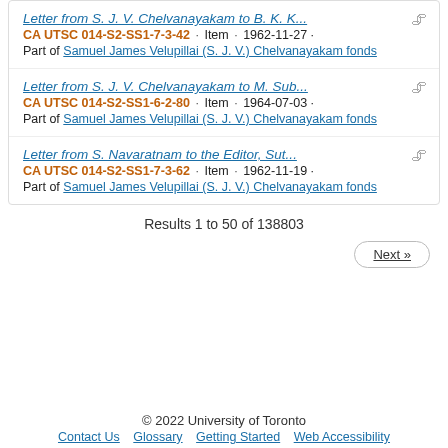Letter from S. J. V. Chelvanayakam to B. K. K... · CA UTSC 014-S2-SS1-7-3-42 · Item · 1962-11-27 · Part of Samuel James Velupillai (S. J. V.) Chelvanayakam fonds
Letter from S. J. V. Chelvanayakam to M. Sub... · CA UTSC 014-S2-SS1-6-2-80 · Item · 1964-07-03 · Part of Samuel James Velupillai (S. J. V.) Chelvanayakam fonds
Letter from S. Navaratnam to the Editor, Sut... · CA UTSC 014-S2-SS1-7-3-62 · Item · 1962-11-19 · Part of Samuel James Velupillai (S. J. V.) Chelvanayakam fonds
Results 1 to 50 of 138803
Next »
© 2022 University of Toronto · Contact Us · Glossary · Getting Started · Web Accessibility